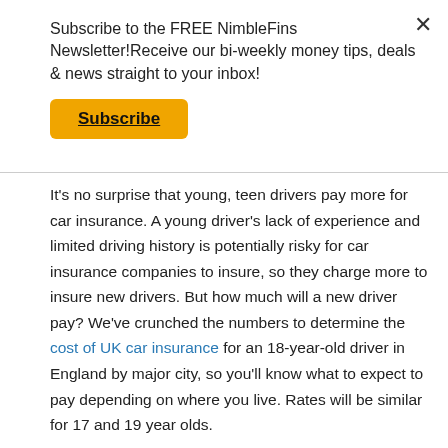Subscribe to the FREE NimbleFins Newsletter!Receive our bi-weekly money tips, deals & news straight to your inbox!
Subscribe
×
It's no surprise that young, teen drivers pay more for car insurance. A young driver's lack of experience and limited driving history is potentially risky for car insurance companies to insure, so they charge more to insure new drivers. But how much will a new driver pay? We've crunched the numbers to determine the cost of UK car insurance for an 18-year-old driver in England by major city, so you'll know what to expect to pay depending on where you live. Rates will be similar for 17 and 19 year olds.
How much will a young driver pay for cheap car insurance